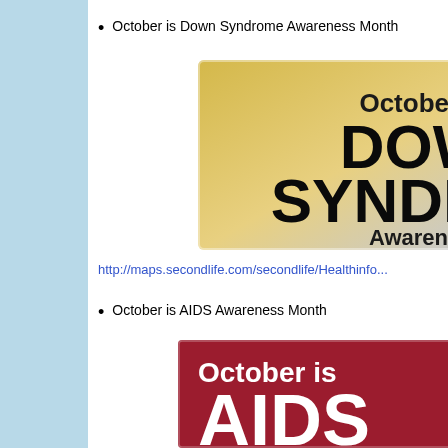October is Down Syndrome Awareness Month
[Figure (illustration): Promotional banner for Down Syndrome Awareness Month with gold-to-lavender gradient background. Text reads 'October is DOWN SYNDROME Awareness Mon[th]' (partially cropped). Large bold black text on gradient background.]
http://maps.secondlife.com/secondlife/Healthinfo...
October is AIDS Awareness Month
[Figure (illustration): Promotional banner for AIDS Awareness Month with dark red background. White text reads 'October is AIDS' (partially cropped at bottom).]